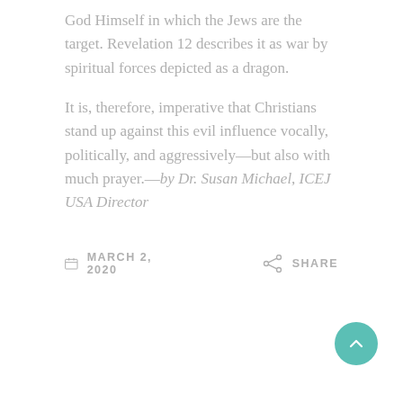God Himself in which the Jews are the target. Revelation 12 describes it as war by spiritual forces depicted as a dragon.
It is, therefore, imperative that Christians stand up against this evil influence vocally, politically, and aggressively—but also with much prayer.—by Dr. Susan Michael, ICEJ USA Director
MARCH 2, 2020   SHARE